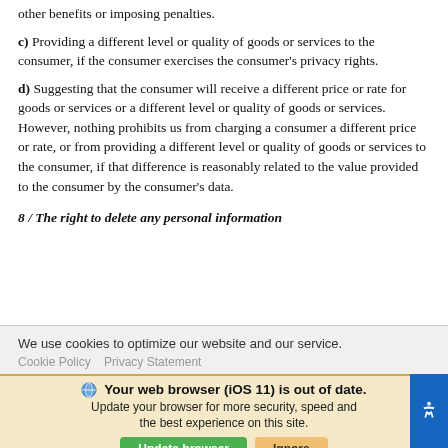other benefits or imposing penalties.
c) Providing a different level or quality of goods or services to the consumer, if the consumer exercises the consumer's privacy rights.
d) Suggesting that the consumer will receive a different price or rate for goods or services or a different level or quality of goods or services. However, nothing prohibits us from charging a consumer a different price or rate, or from providing a different level or quality of goods or services to the consumer, if that difference is reasonably related to the value provided to the consumer by the consumer's data.
8 / The right to delete any personal information
We use cookies to optimize our website and our service.
Cookie Policy  Privacy Statement
Your web browser (iOS 11) is out of date. Update your browser for more security, speed and the best experience on this site.
Update browser   Ignore